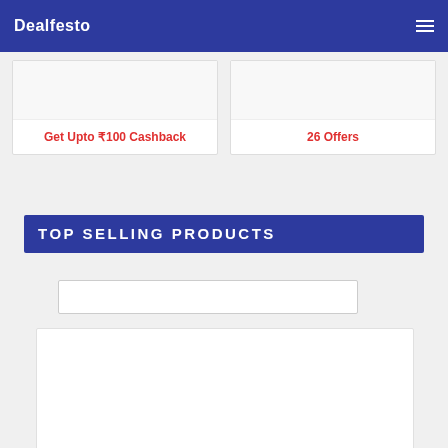Dealfesto
Get Upto ₹100 Cashback
26 Offers
TOP SELLING PRODUCTS
[Figure (other): Search input box]
[Figure (other): Product card placeholder area]